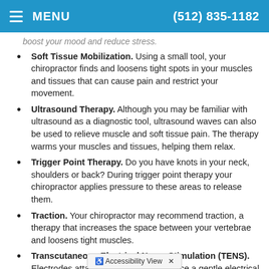MENU  (512) 835-1182
Soft Tissue Mobilization. Using a small tool, your chiropractor finds and loosens tight spots in your muscles and tissues that can cause pain and restrict your movement.
Ultrasound Therapy. Although you may be familiar with ultrasound as a diagnostic tool, ultrasound waves can also be used to relieve muscle and soft tissue pain. The therapy warms your muscles and tissues, helping them relax.
Trigger Point Therapy. Do you have knots in your neck, shoulders or back? During trigger point therapy your chiropractor applies pressure to these areas to release them.
Traction. Your chiropractor may recommend traction, a therapy that increases the space between your vertebrae and loosens tight muscles.
Transcutaneous Electrical Nerve Stimulation (TENS). Electrodes attached to your skin produce a gentle electrical current that...